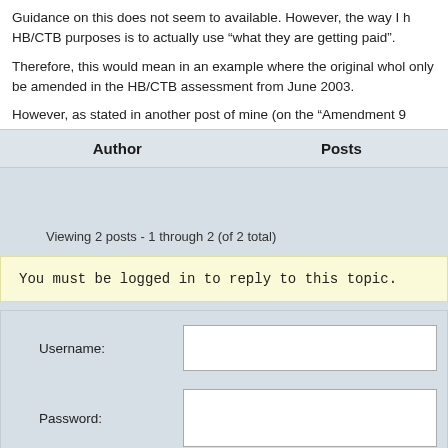Guidance on this does not seem to available. However, the way I HB/CTB purposes is to actually use “what they are getting paid”.
Therefore, this would mean in an example where the original whole only be amended in the HB/CTB assessment from June 2003.
However, as stated in another post of mine (on the “Amendment 9
| Author | Posts |
| --- | --- |
Viewing 2 posts - 1 through 2 (of 2 total)
You must be logged in to reply to this topic.
Username:
Password: